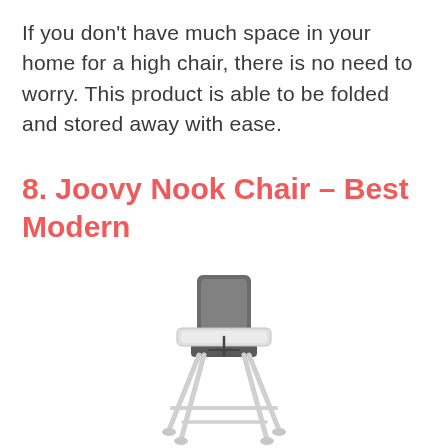If you don't have much space in your home for a high chair, there is no need to worry. This product is able to be folded and stored away with ease.
8. Joovy Nook Chair – Best Modern
[Figure (photo): A modern Joovy Nook high chair with dark gray padded seat back, white metal folding frame legs, and a white tray attached to the front.]